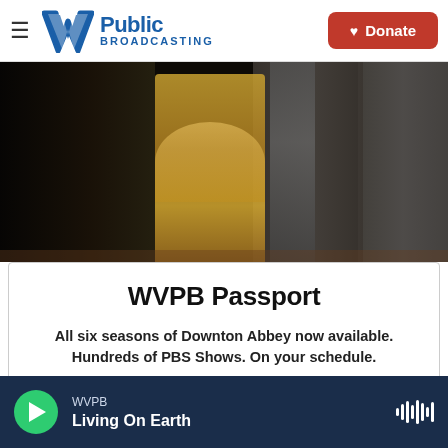W Public Broadcasting | Donate
[Figure (photo): Group of people in formal attire; a woman in a gold dress seated in the center, surrounded by figures in dark clothing, from a period drama (Downton Abbey)]
WVPB Passport
All six seasons of Downton Abbey now available. Hundreds of PBS Shows. On your schedule.
Learn More
WVPB Living On Earth